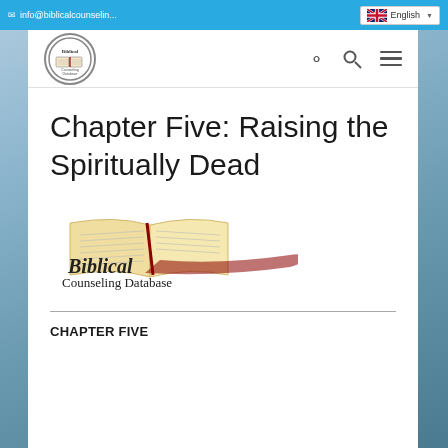info@biblicalcounseling... | English
[Figure (logo): Biblical Counseling Database circular logo with open Bible]
Chapter Five: Raising the Spiritually Dead
[Figure (logo): Biblical Counseling Database logo with open Bible book and text 'Biblical Counseling Database']
CHAPTER FIVE